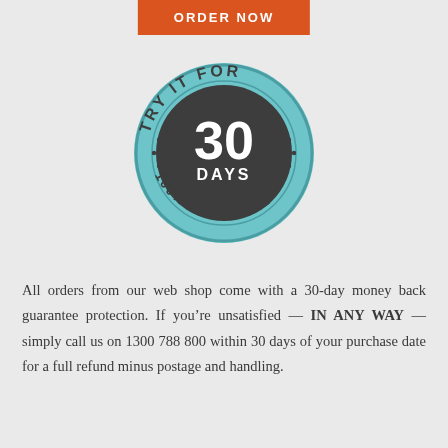ORDER NOW
[Figure (illustration): Circular badge/seal with teal and dark grey colors. Outer ring in teal reads 'TRY IT FOR' at the top and '100% RISK FREE' at the bottom with decorative dots. Inner dark circle contains large white text '30' and below it 'DAYS'.]
All orders from our web shop come with a 30-day money back guarantee protection. If you’re unsatisfied — IN ANY WAY — simply call us on 1300 788 800 within 30 days of your purchase date for a full refund minus postage and handling.